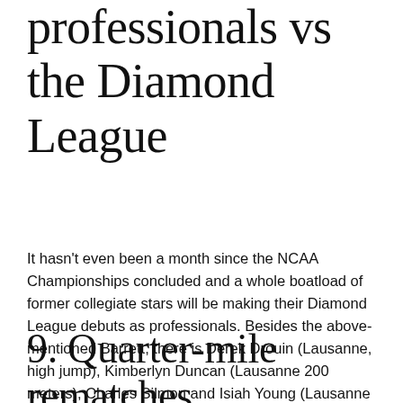professionals vs the Diamond League
It hasn't even been a month since the NCAA Championships concluded and a whole boatload of former collegiate stars will be making their Diamond League debuts as professionals. Besides the above-mentioned Barrett, there is Derek Drouin (Lausanne, high jump), Kimberlyn Duncan (Lausanne 200 meters), Charles Silmon and Isiah Young (Lausanne 200 meters), Georganne Moline (Paris 400 hurdles), and English Gardner (Paris 100 meters).
9. Quarter-mile rematches